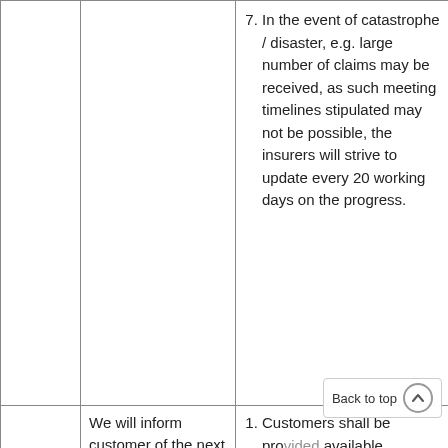|  |  |  |
| --- | --- | --- |
|  |  | 7. In the event of catastrophe / disaster, e.g. large number of claims may be received, as such meeting timelines stipulated may not be possible, the insurers will strive to update every 20 working days on the progress. |
| 4.2 | We will inform customer of the next level of escalation if the claims... | 1. Customers shall be provided available channels to appeal on a decision / raise... |